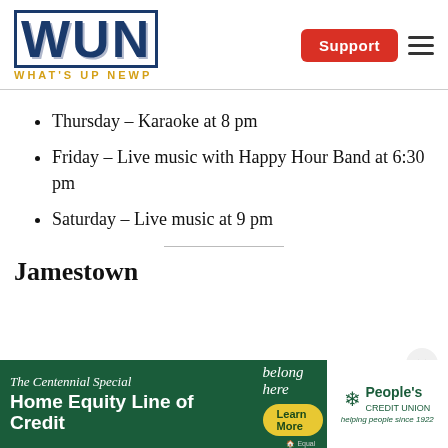WUN WHAT'S UP NEWP | Support
Thursday – Karaoke at 8 pm
Friday – Live music with Happy Hour Band at 6:30 pm
Saturday – Live music at 9 pm
Jamestown
[Figure (other): People's Credit Union advertisement banner: The Centennial Special Home Equity Line of Credit. You belong here. Learn More. Helping people since 1922.]